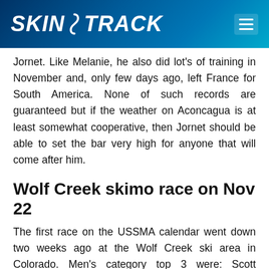SKIN TRACK
Jornet. Like Melanie, he also did lot’s of training in November and, only few days ago, left France for South America. None of such records are guaranteed but if the weather on Aconcagua is at least somewhat cooperative, then Jornet should be able to set the bar very high for anyone that will come after him.
Wolf Creek skimo race on Nov 22
The first race on the USSMA calendar went down two weeks ago at the Wolf Creek ski area in Colorado. Men’s category top 3 were: Scott Simmons, Jon Brown, Pete Swenson. In women’s race category, the win went to Lindsay Plant, followed by Sarah Stubbe and Christena